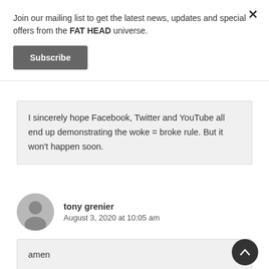Join our mailing list to get the latest news, updates and special offers from the FAT HEAD universe.
Subscribe
I sincerely hope Facebook, Twitter and YouTube all end up demonstrating the woke = broke rule. But it won't happen soon.
tony grenier
August 3, 2020 at 10:05 am
amen